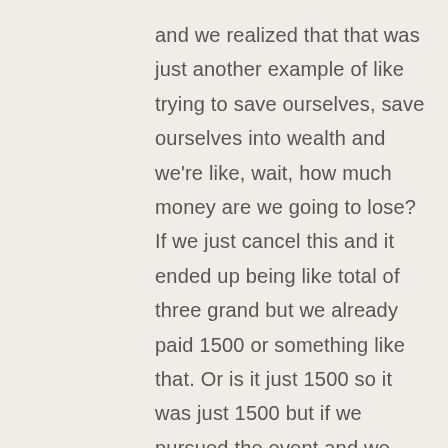and we realized that that was just another example of like trying to save ourselves, save ourselves into wealth and we're like, wait, how much money are we going to lose? If we just cancel this and it ended up being like total of three grand but we already paid 1500 or something like that. Or is it just 1500 so it was just 1500 but if we pursued the event and we only got one person, we would've lost 13 grand.